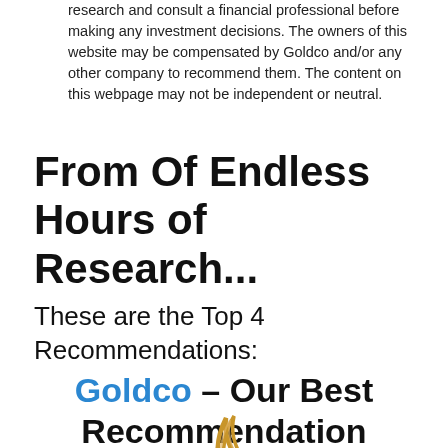research and consult a financial professional before making any investment decisions. The owners of this website may be compensated by Goldco and/or any other company to recommend them. The content on this webpage may not be independent or neutral.
From Of Endless Hours of Research...
These are the Top 4 Recommendations:
Goldco – Our Best Recommendation
[Figure (logo): Goldco logo — gold swoosh/feather graphic at bottom of page]